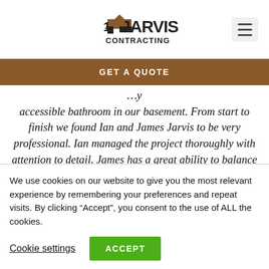[Figure (logo): Jarvis Contracting logo with house/roof icon and bold text]
GET A QUOTE
accessible bathroom in our basement. From start to finish we found Ian and James Jarvis to be very professional. Ian managed the project thoroughly with attention to detail. James has a great ability to balance both creativity and flexibility. We found them to be hard workers who demonstrated
We use cookies on our website to give you the most relevant experience by remembering your preferences and repeat visits. By clicking “Accept”, you consent to the use of ALL the cookies.
Cookie settings
ACCEPT